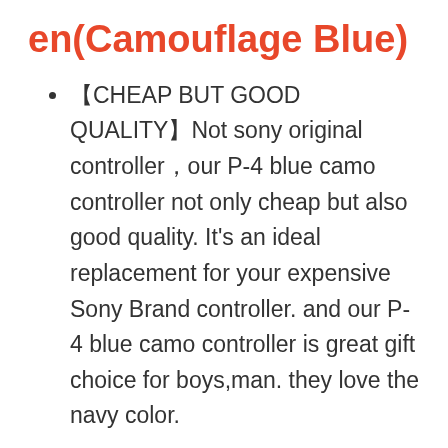en(Camouflage Blue)
【CHEAP BUT GOOD QUALITY】Not sony original controller,our P-4 blue camo controller not only cheap but also good quality. It's an ideal replacement for your expensive Sony Brand controller. and our P-4 blue camo controller is great gift choice for boys,man. they love the navy color.
【Ergonomic Design & Comfortable】AUGEX bluetooth game controller is ergonomically designed with linear